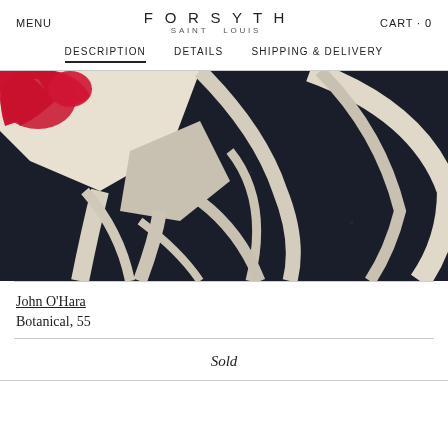MENU | FORSYTH SAINT LOUIS | CART · 0
DESCRIPTION | DETAILS | SHIPPING & DELIVERY
[Figure (photo): Close-up photograph of an abstract painting with bold black brushstrokes on off-white canvas, with red painted elements in the upper left corner, creating a botanical/organic pattern.]
John O'Hara
Botanical, 55
Sold